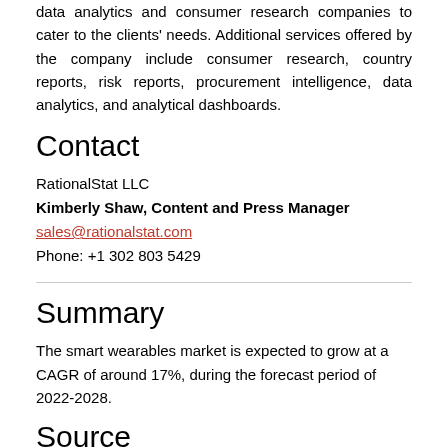data analytics and consumer research companies to cater to the clients' needs. Additional services offered by the company include consumer research, country reports, risk reports, procurement intelligence, data analytics, and analytical dashboards.
Contact
RationalStat LLC
Kimberly Shaw, Content and Press Manager
sales@rationalstat.com
Phone: +1 302 803 5429
Summary
The smart wearables market is expected to grow at a CAGR of around 17%, during the forecast period of 2022-2028.
Source